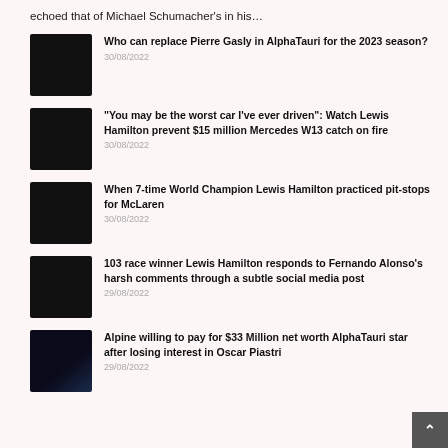echoed that of Michael Schumacher's in his…
Who can replace Pierre Gasly in AlphaTauri for the 2023 season? | 30/08/2022
"You may be the worst car I've ever driven": Watch Lewis Hamilton prevent $15 million Mercedes W13 catch on fire | 30/08/2022
When 7-time World Champion Lewis Hamilton practiced pit-stops for McLaren | 30/08/2022
103 race winner Lewis Hamilton responds to Fernando Alonso's harsh comments through a subtle social media post | 29/08/2022
Alpine willing to pay for $33 Million net worth AlphaTauri star after losing interest in Oscar Piastri | 29/08/2022